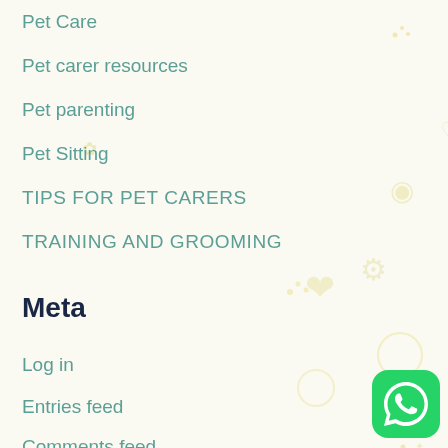Pet Care
Pet carer resources
Pet parenting
Pet Sitting
TIPS FOR PET CARERS
TRAINING AND GROOMING
Meta
Log in
Entries feed
Comments feed
[Figure (logo): WhatsApp logo button, green rounded square with white phone icon]